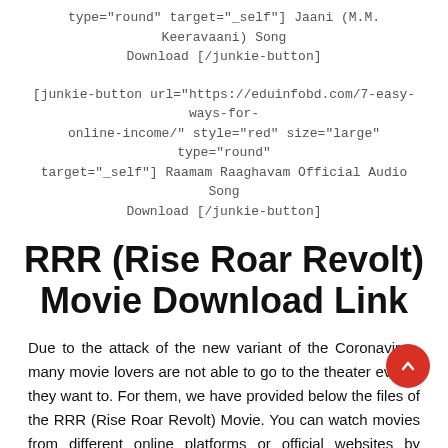type="round" target="_self"] Jaani (M.M. Keeravaani) Song Download [/junkie-button]
[junkie-button url="https://eduinfobd.com/7-easy-ways-for-online-income/" style="red" size="large" type="round" target="_self"] Raamam Raaghavam Official Audio Song Download [/junkie-button]
RRR (Rise Roar Revolt) Movie Download Link
Due to the attack of the new variant of the Coronavirus, many movie lovers are not able to go to the theater even if they want to. For them, we have provided below the files of the RRR (Rise Roar Revolt) Movie. You can watch movies from different online platforms or official websites by entering the link from our website. Remember that